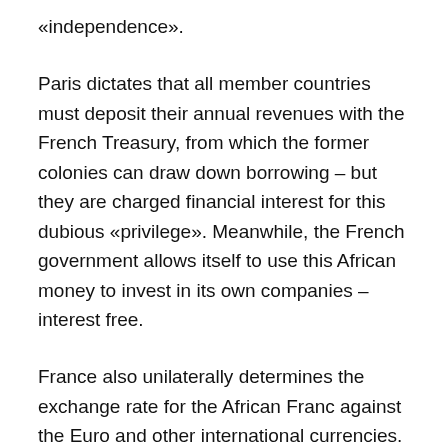«independence».
Paris dictates that all member countries must deposit their annual revenues with the French Treasury, from which the former colonies can draw down borrowing – but they are charged financial interest for this dubious «privilege». Meanwhile, the French government allows itself to use this African money to invest in its own companies – interest free.
France also unilaterally determines the exchange rate for the African Franc against the Euro and other international currencies.
In this way, France has been able to continue its rapacious exploitation of Africa as if it were back in the colonial heyday of the 19th and early 20th Centuries – only now under the politically correct guise of «independent nations».